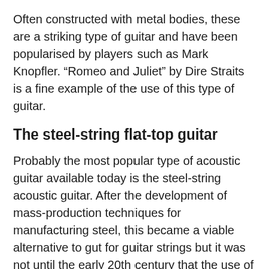Often constructed with metal bodies, these are a striking type of guitar and have been popularised by players such as Mark Knopfler. “Romeo and Juliet” by Dire Straits is a fine example of the use of this type of guitar.
The steel-string flat-top guitar
Probably the most popular type of acoustic guitar available today is the steel-string acoustic guitar. After the development of mass-production techniques for manufacturing steel, this became a viable alternative to gut for guitar strings but it was not until the early 20th century that the use of steel strings became established. 1902 was an important year for